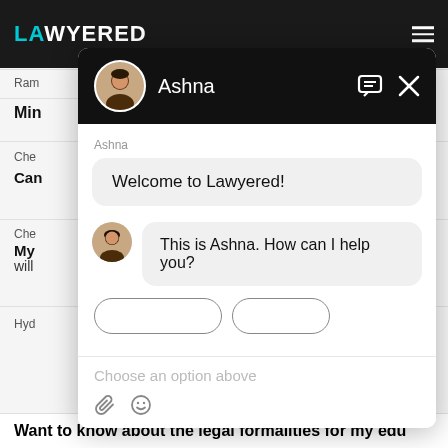LAWYERED
Ram
Min
Che
Can
[Figure (screenshot): Chat widget overlay showing Ashna bot on Lawyered website. Header: black background with avatar and name 'Ashna', message icon and X close button. Chat messages: 'Welcome to Lawyered!' and 'This is Ashna. How can I help you?'. Input area shows 'Choose an option above' placeholder with attachment and emoji icons.]
Hyd
Want to know about the legal formalities for my edu